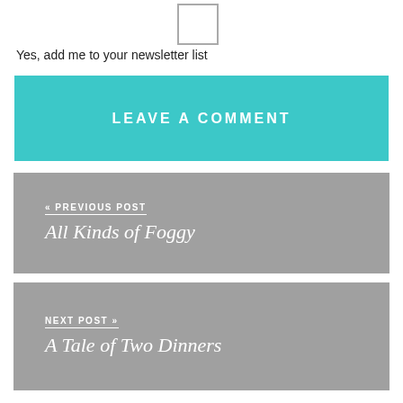Yes, add me to your newsletter list
LEAVE A COMMENT
« PREVIOUS POST
All Kinds of Foggy
NEXT POST »
A Tale of Two Dinners